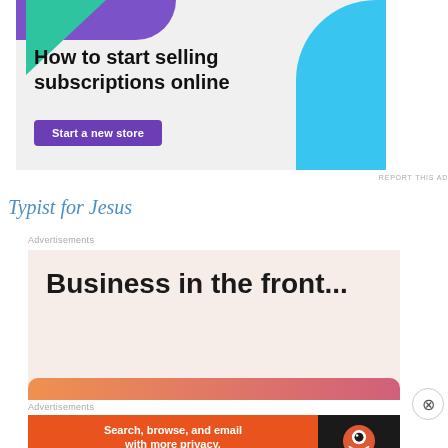[Figure (infographic): Advertisement banner: 'How to start selling subscriptions online' with a purple/green/cyan geometric design and a 'Start a new store' button]
Typist for Jesus
Advertisements
[Figure (infographic): Advertisement: 'Business in the front...' on a light peach background with an orange-pink gradient bar at the bottom]
Advertisements
[Figure (infographic): DuckDuckGo advertisement: 'Search, browse, and email with more privacy. All in One Free App' with DuckDuckGo logo]